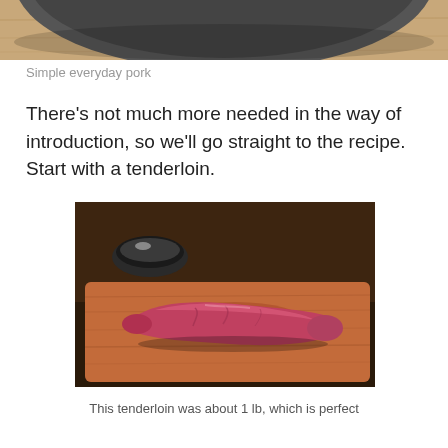[Figure (photo): Top portion of a photo showing a dark round bowl/pan on a wooden surface — cropped at top of page]
Simple everyday pork
There's not much more needed in the way of introduction, so we'll go straight to the recipe. Start with a tenderloin.
[Figure (photo): A raw pork tenderloin on a wooden cutting board, with a dark ceramic bowl visible in the background on a dark surface]
This tenderloin was about 1 lb, which is perfect for a…